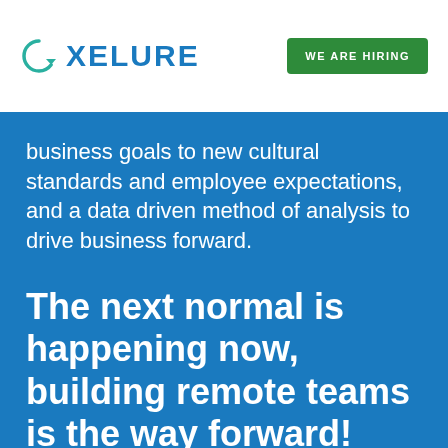[Figure (logo): Xelure company logo with teal circular arrow icon and blue uppercase text XELURE]
WE ARE HIRING
business goals to new cultural standards and employee expectations, and a data driven method of analysis to drive business forward.
The next normal is happening now, building remote teams is the way forward!